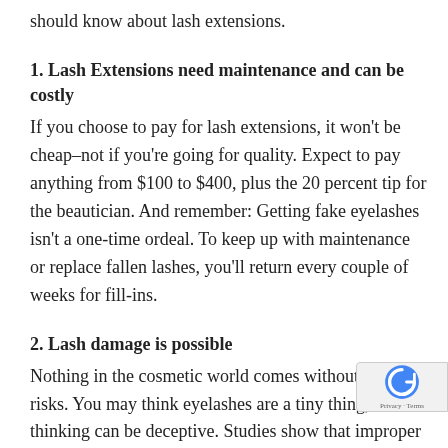should know about lash extensions.
1. Lash Extensions need maintenance and can be costly
If you choose to pay for lash extensions, it won't be cheap–not if you're going for quality. Expect to pay anything from $100 to $400, plus the 20 percent tip for the beautician. And remember: Getting fake eyelashes isn't a one-time ordeal. To keep up with maintenance or replace fallen lashes, you'll return every couple of weeks for fill-ins.
2. Lash damage is possible
Nothing in the cosmetic world comes without health risks. You may think eyelashes are a tiny thing, but this thinking can be deceptive. Studies show that improper application or carelessness can lead to long term lash damage. One of the most common side effects is getting infections after having the extensions.